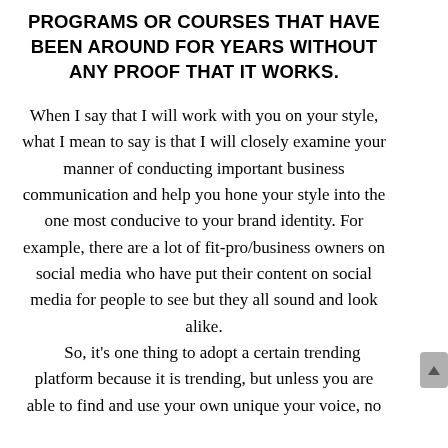PROGRAMS OR COURSES THAT HAVE BEEN AROUND FOR YEARS WITHOUT ANY PROOF THAT IT WORKS.
When I say that I will work with you on your style, what I mean to say is that I will closely examine your manner of conducting important business communication and help you hone your style into the one most conducive to your brand identity. For example, there are a lot of fit-pro/business owners on social media who have put their content on social media for people to see but they all sound and look alike. So, it's one thing to adopt a certain trending platform because it is trending, but unless you are able to find and use your own unique your voice, no